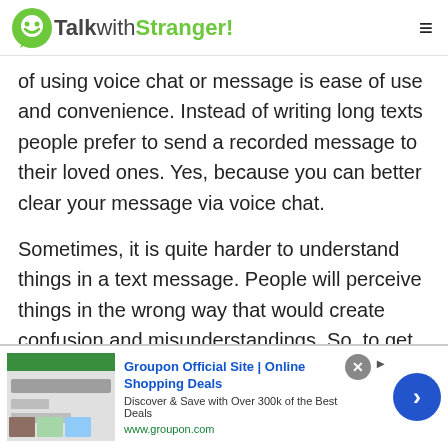TalkwithStranger!
of using voice chat or message is ease of use and convenience. Instead of writing long texts people prefer to send a recorded message to their loved ones. Yes, because you can better clear your message via voice chat.
Sometimes, it is quite harder to understand things in a text message. People will perceive things in the wrong way that would create confusion and misunderstandings. So, to get rid of misunderstandings and confusion, it is always suggested to go with a voice message. With the
[Figure (screenshot): Groupon advertisement banner showing: 'Groupon Official Site | Online Shopping Deals', 'Discover & Save with Over 300k of the Best Deals', 'www.groupon.com' with close button and navigation arrow]